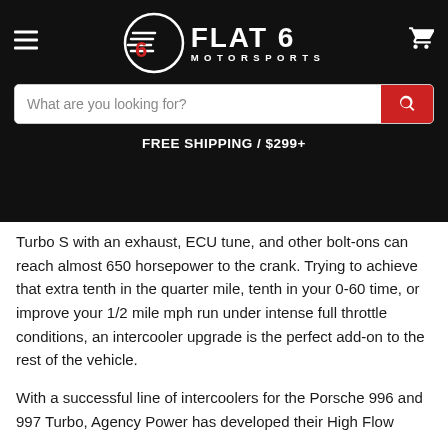[Figure (logo): Flat 6 Motorsports logo with circular emblem and text on black background]
What are you looking for?
FREE SHIPPING / $299+
Turbo S with an exhaust, ECU tune, and other bolt-ons can reach almost 650 horsepower to the crank.  Trying to achieve that extra tenth in the quarter mile, tenth in your 0-60 time, or improve your 1/2 mile mph run under intense full throttle conditions, an intercooler upgrade is the perfect add-on to the rest of the vehicle.
With a successful line of intercoolers for the Porsche 996 and 997 Turbo, Agency Power has developed their High Flow